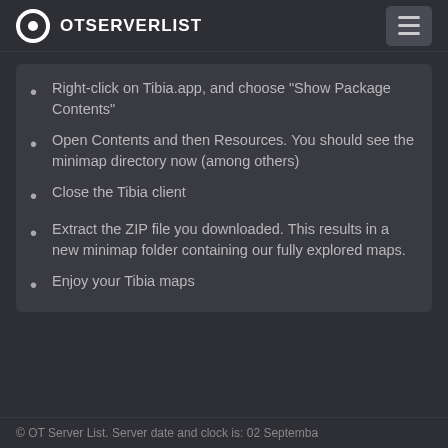OTSERVERLIST
Right-click on Tibia.app, and choose “Show Package Contents”
Open Contents and then Resources. You should see the minimap directory now (among others)
Close the Tibia client
Extract the ZIP file you downloaded. This results in a new minimap folder containing our fully explored maps.
Enjoy your Tibia maps
© OT Server List. Server date and clock is: 02 Septemba